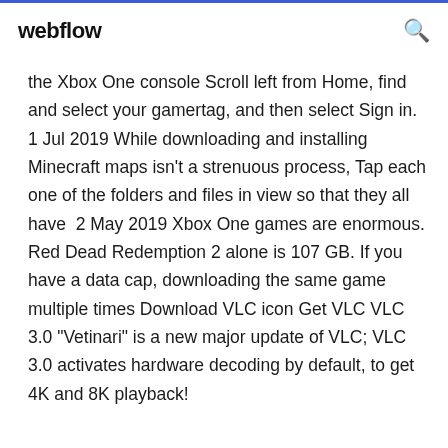webflow
the Xbox One console Scroll left from Home, find and select your gamertag, and then select Sign in. 1 Jul 2019 While downloading and installing Minecraft maps isn't a strenuous process, Tap each one of the folders and files in view so that they all have  2 May 2019 Xbox One games are enormous. Red Dead Redemption 2 alone is 107 GB. If you have a data cap, downloading the same game multiple times Download VLC icon Get VLC VLC 3.0 "Vetinari" is a new major update of VLC; VLC 3.0 activates hardware decoding by default, to get 4K and 8K playback!